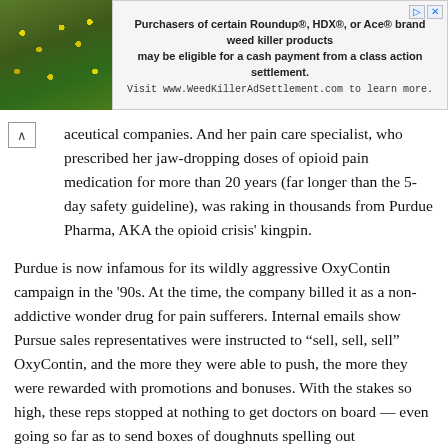[Figure (photo): Thumbnail photo of yellow flowers on green foliage/rocky background, top-left corner]
[Figure (other): Advertisement banner: 'Purchasers of certain Roundup®, HDX®, or Ace® brand weed killer products may be eligible for a cash payment from a class action settlement. Visit www.WeedKillerAdSettlement.com to learn more.']
aceutical companies. And her pain care specialist, who prescribed her jaw-dropping doses of opioid pain medication for more than 20 years (far longer than the 5-day safety guideline), was raking in thousands from Purdue Pharma, AKA the opioid crisis' kingpin.
Purdue is now infamous for its wildly aggressive OxyContin campaign in the '90s. At the time, the company billed it as a non-addictive wonder drug for pain sufferers. Internal emails show Pursue sales representatives were instructed to "sell, sell, sell" OxyContin, and the more they were able to push, the more they were rewarded with promotions and bonuses. With the stakes so high, these reps stopped at nothing to get doctors on board — even going so far as to send boxes of doughnuts spelling out "OxyContin" to unconvinced physicians. Purdue had stumbled upon the perfect system for generating tons of profit — off of other people's pain.